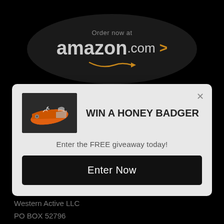[Figure (screenshot): Amazon.com oval logo with text 'Order now at amazon.com >' on dark background]
[Figure (screenshot): Modal popup with orange folding knife image, title 'WIN A HONEY BADGER', subtitle 'Enter the FREE giveaway today!' and black 'Enter Now' button]
Western Active LLC
PO BOX 52796
Irvine, CA
92619
Follow Us: